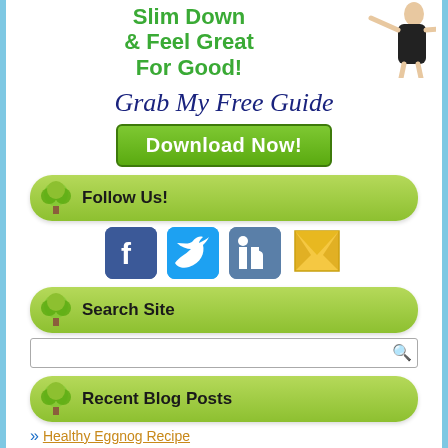Slim Down & Feel Great For Good!
Grab My Free Guide
Download Now!
Follow Us!
[Figure (illustration): Social media icons: Facebook, Twitter, LinkedIn, Email]
Search Site
[Figure (screenshot): Search input box with magnifying glass icon]
Recent Blog Posts
Healthy Eggnog Recipe
Vegan Cookie Dough Bon Bons recipe
How to Avoid Overeating During the Holidays